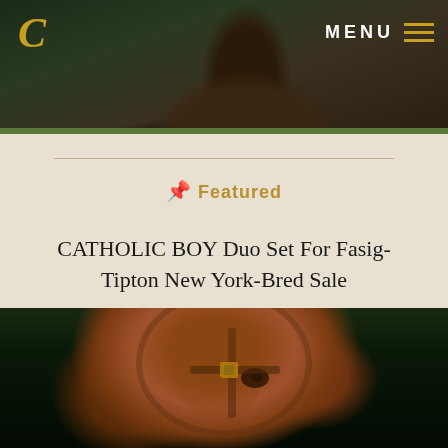[Figure (photo): Close-up photo of a dark horse wearing tack/bridle, dark green background, taken from front/slightly above]
C
MENU
📌 Featured
CATHOLIC BOY Duo Set For Fasig-Tipton New York-Bred Sale
READ STORY >
[Figure (photo): Close-up photo of a chestnut/bay horse wearing a brown leather bridle/halter, dark background]